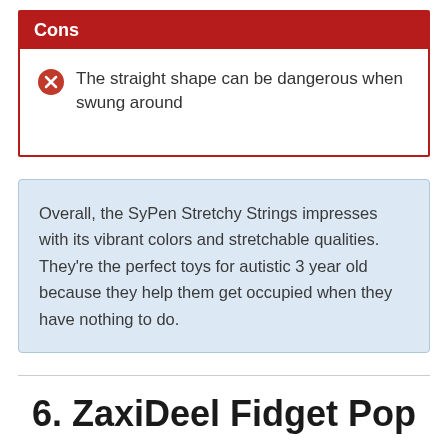Cons
The straight shape can be dangerous when swung around
Overall, the SyPen Stretchy Strings impresses with its vibrant colors and stretchable qualities. They're the perfect toys for autistic 3 year old because they help them get occupied when they have nothing to do.
6. ZaxiDeel Fidget Pop